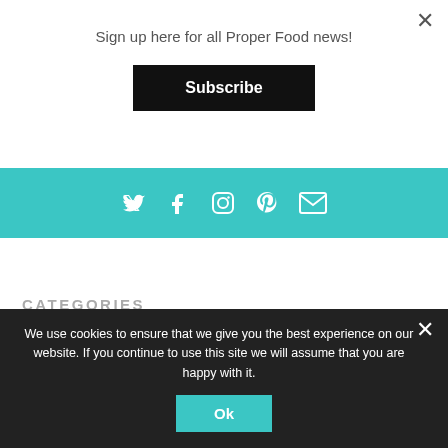Sign up here for all Proper Food news!
Subscribe
[Figure (infographic): Teal social media icons bar with Twitter, Facebook, Instagram, Pinterest, and Email icons in white]
CATEGORIES
COMPETITIONS
DRINK
PROPER FOOD MEETS
SMALL PRODUCERS
We use cookies to ensure that we give you the best experience on our website. If you continue to use this site we will assume that you are happy with it.
Ok